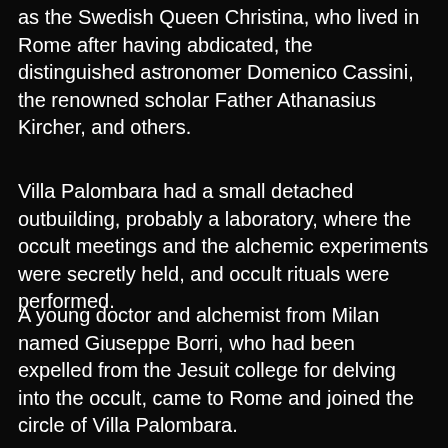as the Swedish Queen Christina, who lived in Rome after having abdicated, the distinguished astronomer Domenico Cassini, the renowned scholar Father Athanasius Kircher, and others.
Villa Palombara had a small detached outbuilding, probably a laboratory, where the occult meetings and the alchemic experiments were secretly held, and occult rituals were performed.
A young doctor and alchemist from Milan named Giuseppe Borri, who had been expelled from the Jesuit college for delving into the occult, came to Rome and joined the circle of Villa Palombara.
[Figure (photo): A stone monument or plaque with an ornate decorative header featuring a Star of David within a circular emblem with scrollwork, above a rectangular stone tablet with inscribed text, flanked by smaller decorative stone elements at the base.]